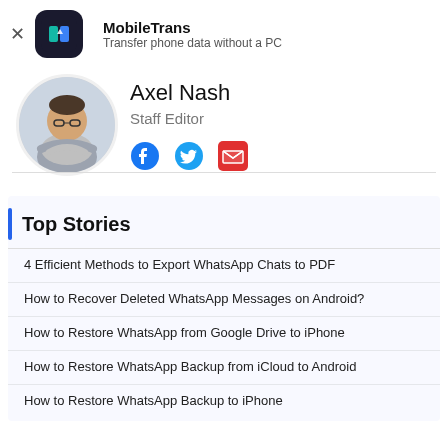[Figure (logo): MobileTrans app icon - dark rounded square with teal/blue phone transfer icon]
MobileTrans
Transfer phone data without a PC
[Figure (photo): Circular author photo of Axel Nash, a man with glasses and crossed arms]
Axel Nash
Staff Editor
[Figure (infographic): Social icons: Facebook (blue), Twitter (blue), Email (red)]
Top Stories
4 Efficient Methods to Export WhatsApp Chats to PDF
How to Recover Deleted WhatsApp Messages on Android?
How to Restore WhatsApp from Google Drive to iPhone
How to Restore WhatsApp Backup from iCloud to Android
How to Restore WhatsApp Backup to iPhone